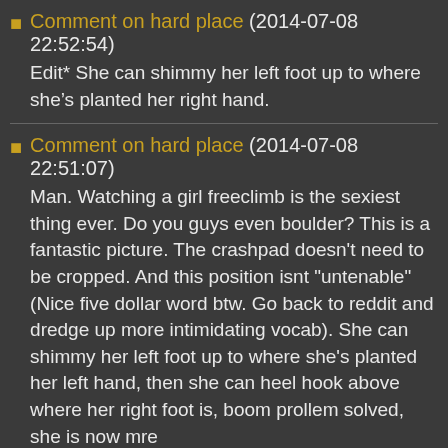Comment on hard place (2014-07-08 22:52:54) Edit* She can shimmy her left foot up to where she's planted her right hand.
Comment on hard place (2014-07-08 22:51:07) Man. Watching a girl freeclimb is the sexiest thing ever. Do you guys even boulder? This is a fantastic picture. The crashpad doesn't need to be cropped. And this position isnt "untenable" (Nice five dollar word btw. Go back to reddit and dredge up more intimidating vocab). She can shimmy her left foot up to where she's planted her left hand, then she can heel hook above where her right foot is, boom prollem solved, she is now mre